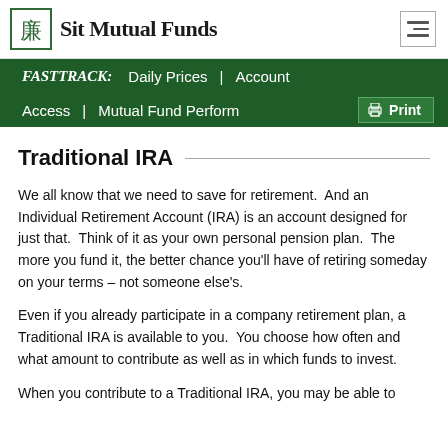Sit Mutual Funds
FASTTRACK: Daily Prices | Account Access | Mutual Fund Perform... Print
Traditional IRA
We all know that we need to save for retirement.  And an Individual Retirement Account (IRA) is an account designed for just that.  Think of it as your own personal pension plan.  The more you fund it, the better chance you'll have of retiring someday on your terms – not someone else's.
Even if you already participate in a company retirement plan, a Traditional IRA is available to you.  You choose how often and what amount to contribute as well as in which funds to invest.
When you contribute to a Traditional IRA, you may be able to